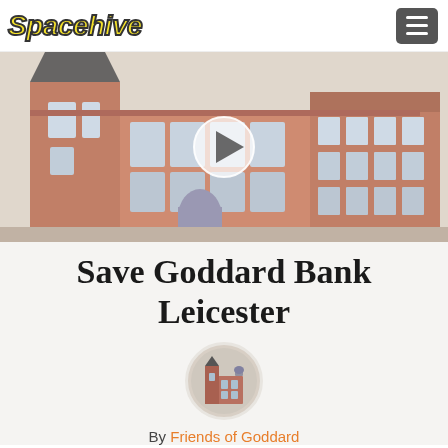Spacehive
[Figure (photo): Architectural illustration/watercolor of Goddard Bank building in Leicester, a Victorian red-brick building with ornate details, tower on left side. A video play button overlay is centered on the image.]
Save Goddard Bank Leicester
[Figure (photo): Circular avatar image showing a small illustration of the Goddard Bank building]
By Friends of Goddard